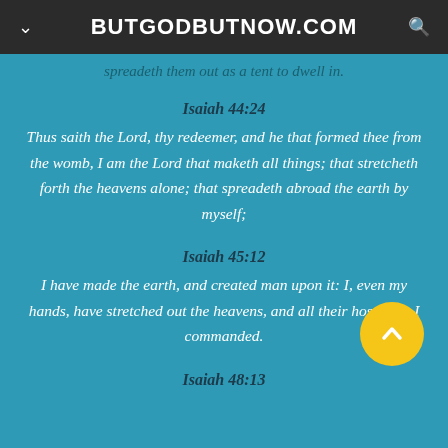BUTGODBUTNOW.COM
spreadeth them out as a tent to dwell in.
Isaiah 44:24
Thus saith the Lord, thy redeemer, and he that formed thee from the womb, I am the Lord that maketh all things; that stretcheth forth the heavens alone; that spreadeth abroad the earth by myself;
Isaiah 45:12
I have made the earth, and created man upon it: I, even my hands, have stretched out the heavens, and all their host have I commanded.
Isaiah 48:13